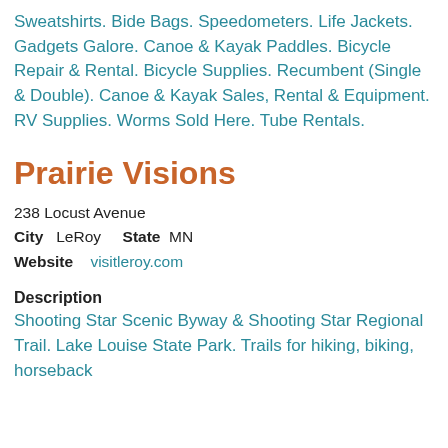Sweatshirts. Bide Bags. Speedometers. Life Jackets. Gadgets Galore. Canoe & Kayak Paddles. Bicycle Repair & Rental. Bicycle Supplies. Recumbent (Single & Double). Canoe & Kayak Sales, Rental & Equipment. RV Supplies. Worms Sold Here. Tube Rentals.
Prairie Visions
238 Locust Avenue
City   LeRoy    State   MN
Website   visitleroy.com
Description
Shooting Star Scenic Byway & Shooting Star Regional Trail. Lake Louise State Park. Trails for hiking, biking, horseback